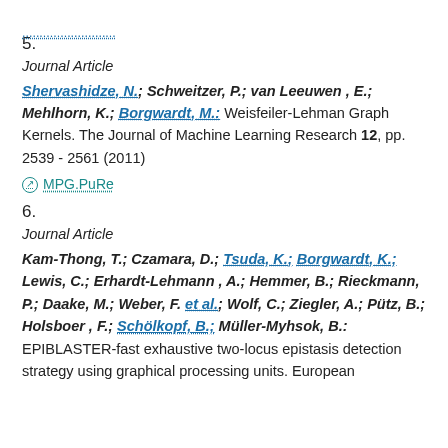(top truncated link)
5.
Journal Article
Shervashidze, N.; Schweitzer, P.; van Leeuwen , E.; Mehlhorn, K.; Borgwardt, M.: Weisfeiler-Lehman Graph Kernels. The Journal of Machine Learning Research 12, pp. 2539 - 2561 (2011)
MPG.PuRe
6.
Journal Article
Kam-Thong, T.; Czamara, D.; Tsuda, K.; Borgwardt, K.; Lewis, C.; Erhardt-Lehmann , A.; Hemmer, B.; Rieckmann, P.; Daake, M.; Weber, F. et al.; Wolf, C.; Ziegler, A.; Pütz, B.; Holsboer , F.; Schölkopf, B.; Müller-Myhsok, B.: EPIBLASTER-fast exhaustive two-locus epistasis detection strategy using graphical processing units. European